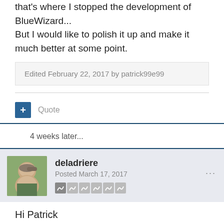that's where I stopped the development of BlueWizard... But I would like to polish it up and make it much better at some point.
Edited February 22, 2017 by patrick99e99
Quote
4 weeks later...
deladriere
Posted March 17, 2017
Hi Patrick
This is really outstanding job!